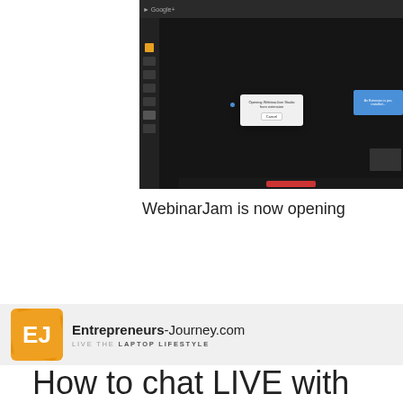[Figure (screenshot): Screenshot of a dark-themed browser with WebinarJam Studio open, showing a dialog box with a Cancel button and a blue popup notification on the right side]
WebinarJam is now opening
[Figure (logo): Entrepreneurs-Journey.com logo with orange EJ icon and tagline LIVE THE LAPTOP LIFESTYLE]
How to chat LIVE with